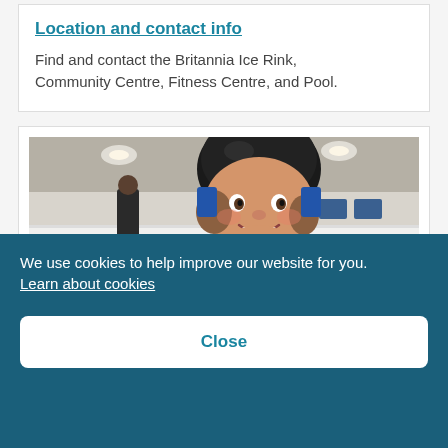Location and contact info
Find and contact the Britannia Ice Rink, Community Centre, Fitness Centre, and Pool.
[Figure (photo): Child wearing hockey helmet smiling on ice rink, with another person standing in background]
We use cookies to help improve our website for you. Learn about cookies
Close